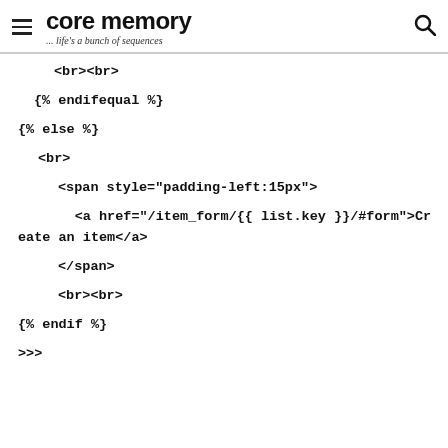core memory ... life's a bunch of sequences
<br><br>
{% endifequal %}
{% else %}
<br>
<span style="padding-left:15px">
<a href="/item_form/{{ list.key }}/#form">Create an item</a>
</span>
<br><br>
{% endif %}
>>>